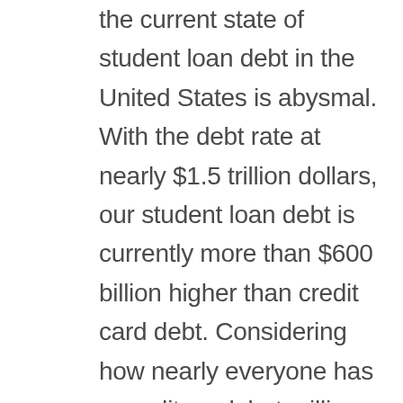the current state of student loan debt in the United States is abysmal. With the debt rate at nearly $1.5 trillion dollars, our student loan debt is currently more than $600 billion higher than credit card debt. Considering how nearly everyone has a credit card, but millions of Americans do not have student loan debt, this speaks to the astronomical rates of tuition — as well as the negative financial impact this can have on anyone who has chosen a